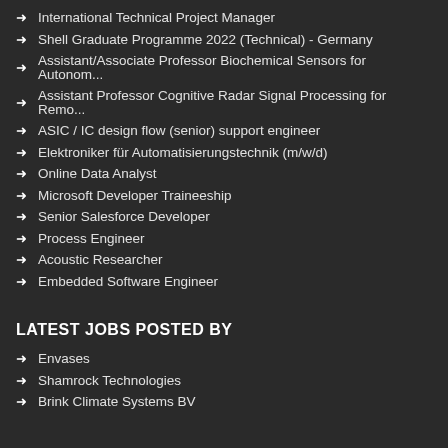International Technical Project Manager
Shell Graduate Programme 2022 (Technical) - Germany
Assistant/Associate Professor Biochemical Sensors for Autonom...
Assistant Professor Cognitive Radar Signal Processing for Remo...
ASIC / IC design flow (senior) support engineer
Elektroniker für Automatisierungstechnik (m/w/d)
Online Data Analyst
Microsoft Developer Traineeship
Senior Salesforce Developer
Process Engineer
Acoustic Researcher
Embedded Software Engineer
LATEST JOBS POSTED BY
Envases
Shamrock Technologies
Brink Climate Systems BV